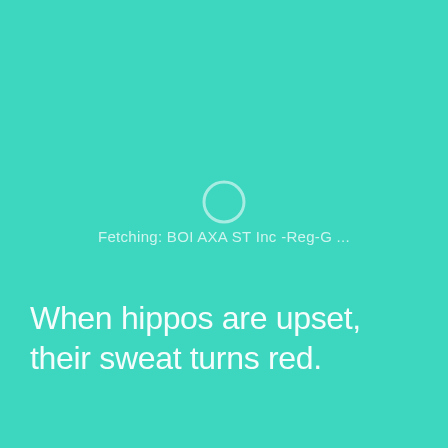[Figure (other): A circular loading/spinner icon outline in semi-transparent white on a teal background]
Fetching: BOI AXA ST Inc -Reg-G ...
When hippos are upset, their sweat turns red.